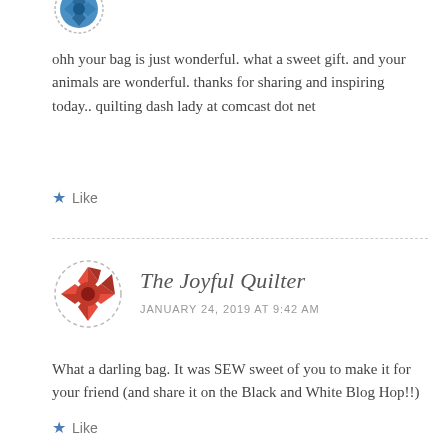[Figure (illustration): Circular avatar with dashed border showing a blue/teal quilt pattern icon, partially visible at top]
ohh your bag is just wonderful. what a sweet gift. and your animals are wonderful. thanks for sharing and inspiring today.. quilting dash lady at comcast dot net
Like
[Figure (illustration): Circular avatar with dashed border showing a red and white quilt/flower pattern for The Joyful Quilter]
The Joyful Quilter
JANUARY 24, 2019 AT 9:42 AM
What a darling bag. It was SEW sweet of you to make it for your friend (and share it on the Black and White Blog Hop!!)
Like